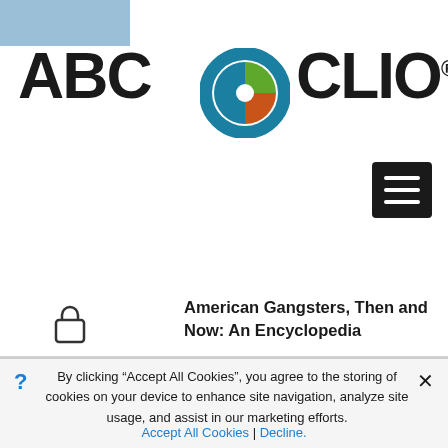[Figure (logo): ABC CLIO logo with circular icon containing teal, green, and orange segments, and registered trademark symbol]
[Figure (other): Hamburger menu button (three horizontal white lines on black background)]
[Figure (other): Shopping bag / lock icon]
[Figure (other): Blue accessibility icon button]
American Gangsters, Then and Now: An Encyclopedia
By clicking “Accept All Cookies”, you agree to the storing of cookies on your device to enhance site navigation, analyze site usage, and assist in our marketing efforts.
Accept All Cookies | Decline.